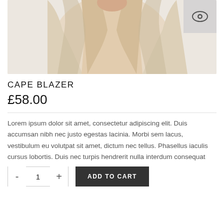[Figure (photo): Product photo of a beige/cream cape blazer on a model, cropped to show torso, light background]
CAPE BLAZER
£58.00
Lorem ipsum dolor sit amet, consectetur adipiscing elit. Duis accumsan nibh nec justo egestas lacinia. Morbi sem lacus, vestibulum eu volutpat sit amet, dictum nec tellus. Phasellus iaculis cursus lobortis. Duis nec turpis hendrerit nulla interdum consequat